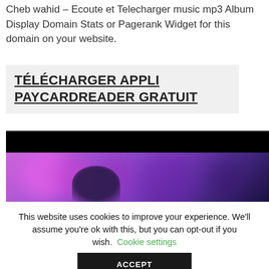Cheb wahid – Ecoute et Telecharger music mp3 Album Display Domain Stats or Pagerank Widget for this domain on your website.
TÉLÉCHARGER APPLI PAYCARDREADER GRATUIT
[Figure (photo): Concert/nightlife photo with purple and pink bokeh lights, dark background, person's silhouette visible]
This website uses cookies to improve your experience. We'll assume you're ok with this, but you can opt-out if you wish. Cookie settings
ACCEPT